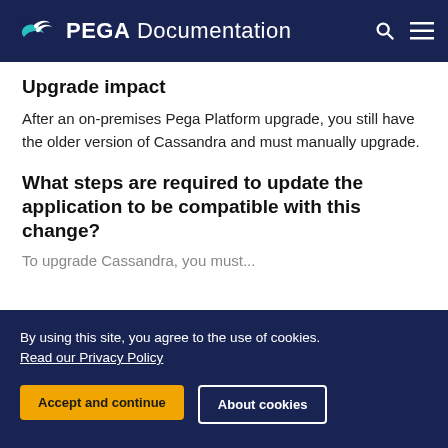PEGA Documentation
Upgrade impact
After an on-premises Pega Platform upgrade, you still have the older version of Cassandra and must manually upgrade.
What steps are required to update the application to be compatible with this change?
To upgrade Cassandra, you must...
READY TO CRUSH COMPLEXITY?
By using this site, you agree to the use of cookies. Read our Privacy Policy
Accept and continue   About cookies